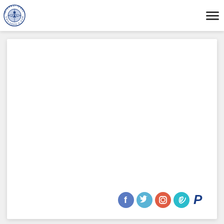[Figure (logo): International Children's Care circular logo with globe and child figure in blue]
[Figure (infographic): Hamburger menu icon (three horizontal lines) in top right of header]
[Figure (infographic): White content card area (blank/empty)]
[Figure (infographic): Social media icons row at bottom right: Facebook (blue circle), Twitter (light blue circle), Instagram (red-orange circle), Vimeo (teal circle), PayPal (blue P logo)]